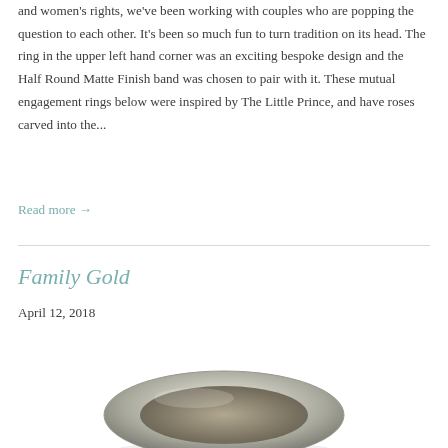and women's rights, we've been working with couples who are popping the question to each other. It's been so much fun to turn tradition on its head. The ring in the upper left hand corner was an exciting bespoke design and the Half Round Matte Finish band was chosen to pair with it. These mutual engagement rings below were inspired by The Little Prince, and have roses carved into the...
Read more →
Family Gold
April 12, 2018
[Figure (photo): Close-up photograph of a silver/gold ring (wedding band), partially visible at the bottom of the page]